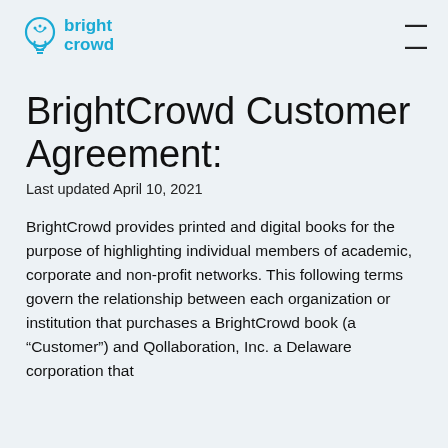bright crowd
BrightCrowd Customer Agreement:
Last updated April 10, 2021
BrightCrowd provides printed and digital books for the purpose of highlighting individual members of academic, corporate and non-profit networks. This following terms govern the relationship between each organization or institution that purchases a BrightCrowd book (a “Customer”) and Qollaboration, Inc. a Delaware corporation that